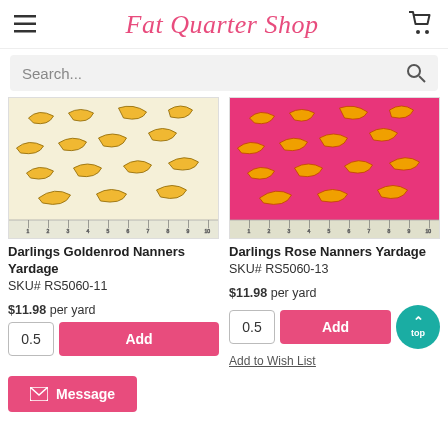Fat Quarter Shop
Search...
[Figure (photo): Fabric swatch showing goldenrod/yellow bananas on cream background with ruler strip at bottom]
[Figure (photo): Fabric swatch showing yellow/orange bananas on rose/hot-pink background with ruler strip at bottom]
Darlings Goldenrod Nanners Yardage
SKU# RS5060-11
Darlings Rose Nanners Yardage
SKU# RS5060-13
$11.98 per yard
$11.98 per yard
Add
Add
Add to Wish List
Message